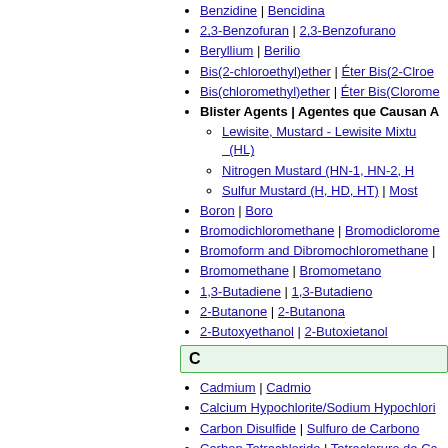Benzidine | Bencidina
2,3-Benzofuran | 2,3-Benzofurano
Beryllium | Berilio
Bis(2-chloroethyl)ether | Éter Bis(2-Cloro...
Bis(chloromethyl)ether | Éter Bis(Clorome...
Blister Agents | Agentes que Causan A...
Lewisite, Mustard - Lewisite Mixtu... (HL)
Nitrogen Mustard (HN-1, HN-2, H...
Sulfur Mustard (H, HD, HT) | Most...
Boron | Boro
Bromodichloromethane | Bromodiclorome...
Bromoform and Dibromochloromethane |
Bromomethane | Bromometano
1,3-Butadiene | 1,3-Butadieno
2-Butanone | 2-Butanona
2-Butoxyethanol | 2-Butoxietanol
C
Cadmium | Cadmio
Calcium Hypochlorite/Sodium Hypochlori...
Carbon Disulfide | Sulfuro de Carbono
Carbon Tetrachloride | Tetracloruro de Ca...
Cesium | Cesio
Chlordane | Clordano